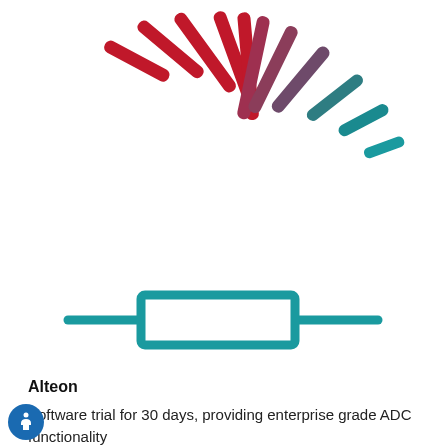[Figure (illustration): Fan/burst of colored stripes radiating from center bottom, transitioning from red on the left to muted purple/pink in the middle to dark teal on the right, like a sunburst or loading spinner graphic]
Alteon
Software trial for 30 days, providing enterprise grade ADC functionality
[Figure (schematic): Network/ADC diagram outline showing a server rack or appliance shape with a teal and burgundy gradient outline. A rectangular box is centered at the top (representing a component), connected by thick lines to a wider base structure below, resembling a simplified ADC or load balancer schematic.]